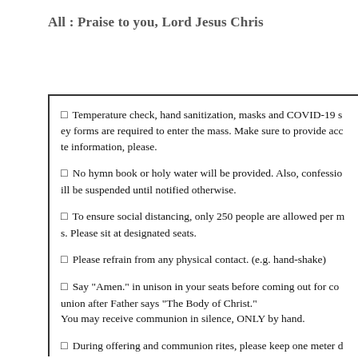All : Praise to you, Lord Jesus Chris
Temperature check, hand sanitization, masks and COVID-19 survey forms are required to enter the mass. Make sure to provide accurate information, please.
No hymn book or holy water will be provided. Also, confessions will be suspended until notified otherwise.
To ensure social distancing, only 250 people are allowed per mass. Please sit at designated seats.
Please refrain from any physical contact. (e.g. hand-shake)
Say "Amen." in unison in your seats before coming out for communion after Father says "The Body of Christ." You may receive communion in silence, ONLY by hand.
During offering and communion rites, please keep one meter distance.